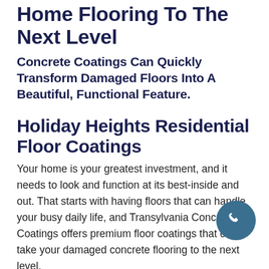Home Flooring To The Next Level
Concrete Coatings Can Quickly Transform Damaged Floors Into A Beautiful, Functional Feature.
Holiday Heights Residential Floor Coatings
Your home is your greatest investment, and it needs to look and function at its best-inside and out. That starts with having floors that can handle your busy daily life, and Transylvania Concrete Coatings offers premium floor coatings that can take your damaged concrete flooring to the next level.
Designed to offer incredible beauty, durability, and easy upkeep, our Holiday Heights concrete coatings